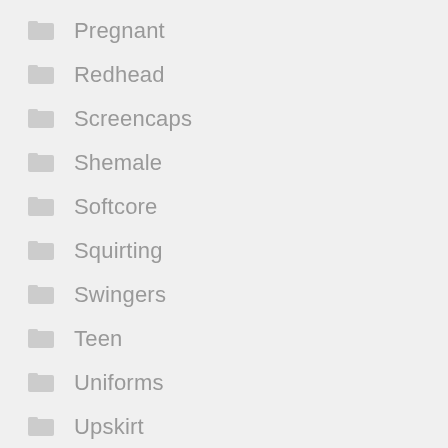Pregnant
Redhead
Screencaps
Shemale
Softcore
Squirting
Swingers
Teen
Uniforms
Upskirt
Vintage
Voyeur